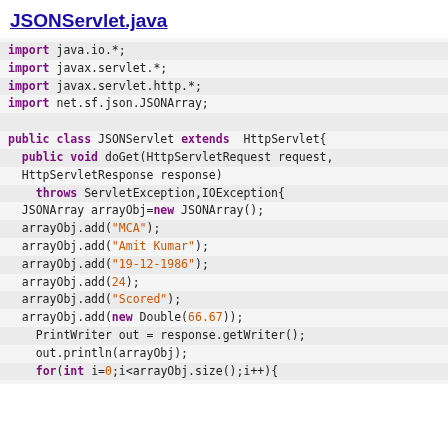JSONServlet.java
import java.io.*;
import javax.servlet.*;
import javax.servlet.http.*;
import net.sf.json.JSONArray;

public class JSONServlet extends HttpServlet{
  public void doGet(HttpServletRequest request,
  HttpServletResponse response)
    throws ServletException,IOException{
  JSONArray arrayObj=new JSONArray();
  arrayObj.add("MCA");
  arrayObj.add("Amit Kumar");
  arrayObj.add("19-12-1986");
  arrayObj.add(24);
  arrayObj.add("Scored");
  arrayObj.add(new Double(66.67));
    PrintWriter out = response.getWriter();
    out.println(arrayObj);
    for(int i=0;i<arrayObj.size();i++){